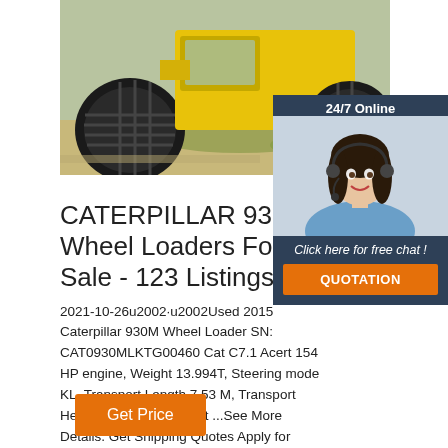[Figure (photo): Yellow construction wheel roller/compactor machine on dirt/gravel ground]
[Figure (photo): 24/7 Online chat panel with female customer service agent wearing headset, smiling, with 'Click here for free chat!' text and orange QUOTATION button]
CATERPILLAR 930M Wheel Loaders For Sale - 123 Listings
2021-10-26u2002·u2002Used 2015 Caterpillar 930M Wheel Loader SN: CAT0930MLKTG00460 Cat C7.1 Acert 154 HP engine, Weight 13.994T, Steering mode KL, Transport Length 7.53 M, Transport Height 2.54 M, Transport ...See More Details. Get Shipping Quotes Apply for Financing. 5.
Get Price